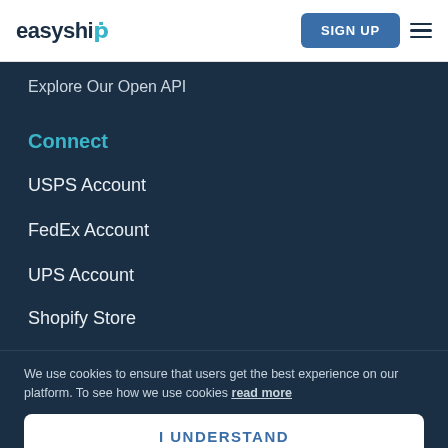easyship | SIGN UP
Explore Our Open API
Connect
USPS Account
FedEx Account
UPS Account
Shopify Store
We use cookies to ensure that users get the best experience on our platform. To see how we use cookies read more
I UNDERSTAND